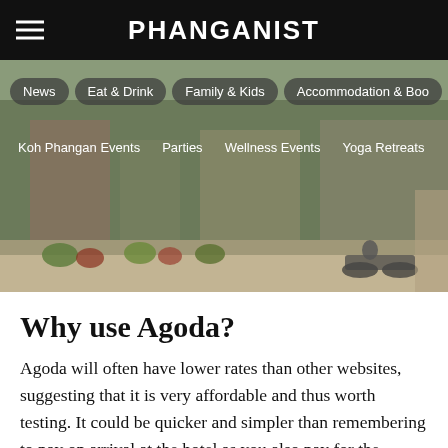PHANGANIST
[Figure (photo): Street scene with buildings, plants, and a motorcycle; navigation menu overlaid with pill-shaped buttons: News, Eat & Drink, Family & Kids, Accommodation & Boo... and a second row: Koh Phangan Events, Parties, Wellness Events, Yoga Retreats]
Why use Agoda?
Agoda will often have lower rates than other websites, suggesting that it is very affordable and thus worth testing. It could be quicker and simpler than remembering to pay on arrival at the hotel as you also pay for the booking in advance. Agoda for Thailand is a well-known website which is found in several hotels. For frequent